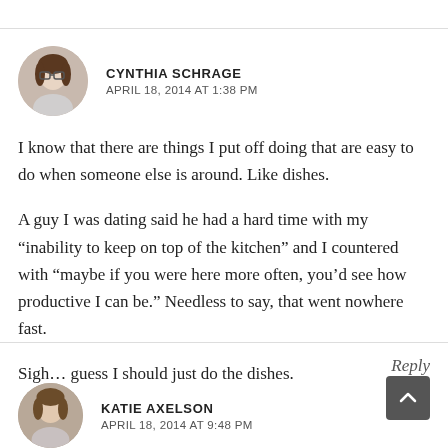CYNTHIA SCHRAGE
APRIL 18, 2014 AT 1:38 PM
I know that there are things I put off doing that are easy to do when someone else is around. Like dishes.
A guy I was dating said he had a hard time with my “inability to keep on top of the kitchen” and I countered with “maybe if you were here more often, you’d see how productive I can be.” Needless to say, that went nowhere fast.
Sigh… guess I should just do the dishes.
Reply
KATIE AXELSON
APRIL 18, 2014 AT 9:48 PM